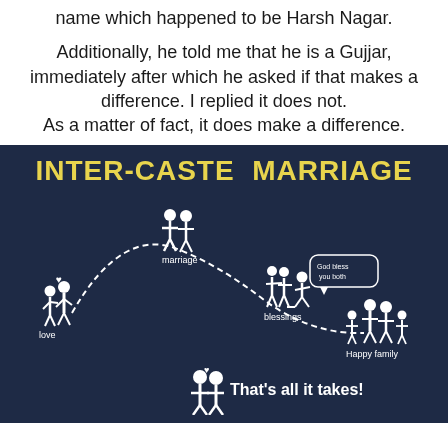name which happened to be Harsh Nagar.

Additionally, he told me that he is a Gujjar, immediately after which he asked if that makes a difference. I replied it does not.
As a matter of fact, it does make a difference.
[Figure (infographic): Infographic titled 'INTER-CASTE MARRIAGE' on dark navy background showing a path: love (couple) -> marriage (couple at altar) -> blessings (elder blessing couple, speech bubble 'God bless you both') -> Happy family (family group). Below: couple figures with text 'That's all it takes!']